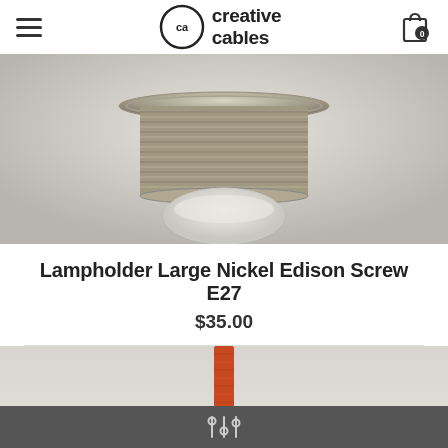creative cables
[Figure (photo): Close-up photo of a large nickel Edison screw E27 lampholder with threaded metallic ring and a clear bulb partially visible below, on a light background]
Lampholder Large Nickel Edison Screw E27
$35.00
[Figure (photo): Partial product photo showing an orange braided textile cable with a white ceramic lampholder fitting below it, on a light grey background]